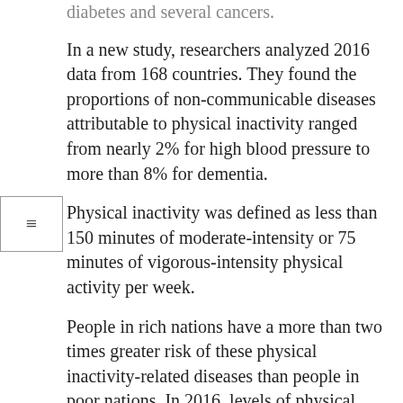diabetes and several cancers.
In a new study, researchers analyzed 2016 data from 168 countries. They found the proportions of non-communicable diseases attributable to physical inactivity ranged from nearly 2% for high blood pressure to more than 8% for dementia.
Physical inactivity was defined as less than 150 minutes of moderate-intensity or 75 minutes of vigorous-intensity physical activity per week.
People in rich nations have a more than two times greater risk of these physical inactivity-related diseases than people in poor nations. In 2016, levels of physical inactivity in wealthy countries were estimated to be more than double those in low-income countries.
However, middle-income countries have the highest number of people at risk from inactivity because of their larger populations. This means they account for 69% of